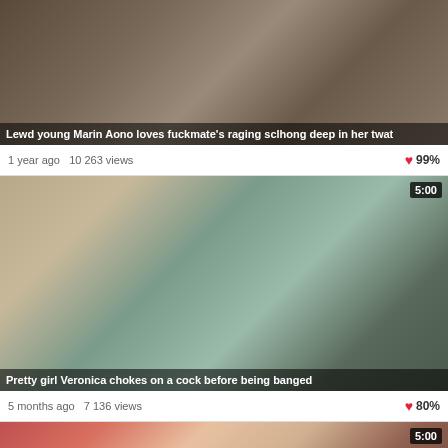[Figure (screenshot): Video thumbnail showing two people kissing]
Lewd young Marin Aono loves fuckmate's raging sclhong deep in her twat
1 year ago  10 263 views  99%
[Figure (screenshot): Video thumbnail showing a young woman sitting on a bed with a man standing behind her, duration 5:00]
Pretty girl Veronica chokes on a cock before being banged
5 months ago  7 136 views  80%
[Figure (screenshot): Video thumbnail showing two people, duration 5:00]